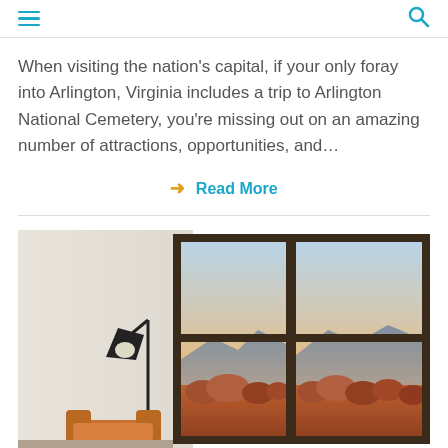[hamburger menu] [search icon]
When visiting the nation's capital, if your only foray into Arlington, Virginia includes a trip to Arlington National Cemetery, you're missing out on an amazing number of attractions, opportunities, and...
➜ Read More
[Figure (photo): Interior room photo showing a dark-framed floor lamp with a conical shade next to a brown leather chair, with large multi-pane windows overlooking a mountain and autumnal tree landscape at sunset/dusk]